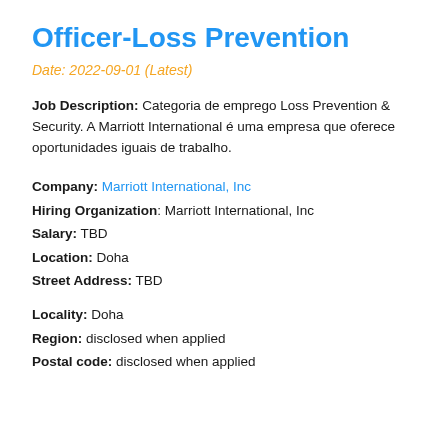Officer-Loss Prevention
Date: 2022-09-01 (Latest)
Job Description: Categoria de emprego Loss Prevention & Security. A Marriott International é uma empresa que oferece oportunidades iguais de trabalho.
Company: Marriott International, Inc
Hiring Organization: Marriott International, Inc
Salary: TBD
Location: Doha
Street Address: TBD
Locality: Doha
Region: disclosed when applied
Postal code: disclosed when applied